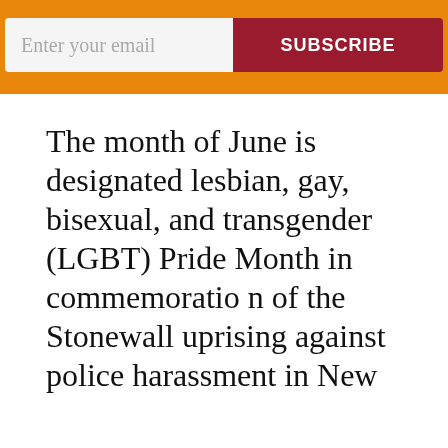[Figure (other): Orange banner with email input field and Subscribe button]
The month of June is designated lesbian, gay, bisexual, and transgender (LGBT) Pride Month in commemoration of the Stonewall uprising against police harassment in New